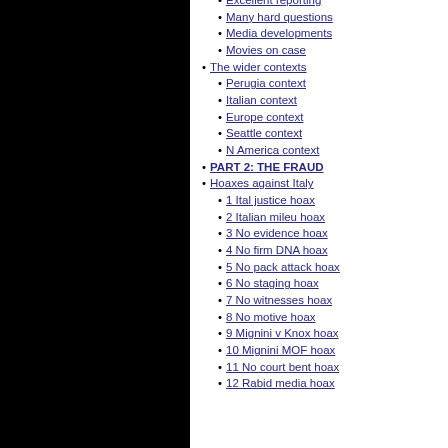Excellent reporting
Many hard questions
Media developments
Movies on case
The wider contexts
Perugia context
Italian context
Europe context
Seattle context
N America context
PART 2: THE FRAUD
Hoaxes against Italy
1 Ital justice hoax
2 Italian mileu hoax
3 No evidence hoax
4 No firm DNA hoax
5 No pack attack hoax
6 No staging hoax
7 No witnesses hoax
8 No motive hoax
9 Mignini v Knox hoax
10 Mignini MOF hoax
11 No court bent hoax
12 Rabid media hoax